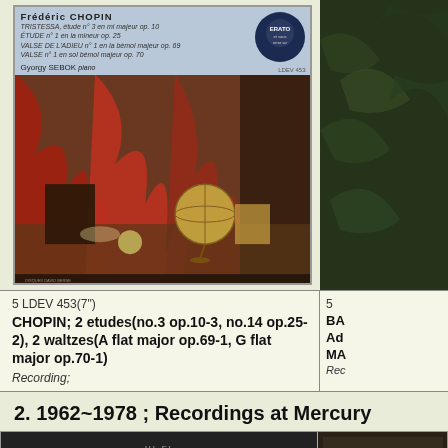[Figure (photo): Album cover for Frédéric Chopin performed by Gyorgy Sebok on piano. Top section shows blue-grey band with text listing etudes and waltzes, Erato label logo top right. Bottom section shows a still-life painting with red drapes, a globe, and various objects on a table.]
[Figure (photo): Partial view of another album cover with dark green/plant imagery, cropped on right edge.]
5 LDEV 453(7")
CHOPIN; 2 etudes(no.3 op.10-3, no.14 op.25-2), 2 waltzes(A flat major op.69-1, G flat major op.70-1)
Recording;
5
BA
Ad
MA
Rec
2. 1962~1978 ; Recordings at Mercury
[Figure (photo): Bottom of page showing a HI-FI STEREO banner in dark/black background with large stylized italic text.]
[Figure (photo): Partial view of another album cover on the right, cropped.]